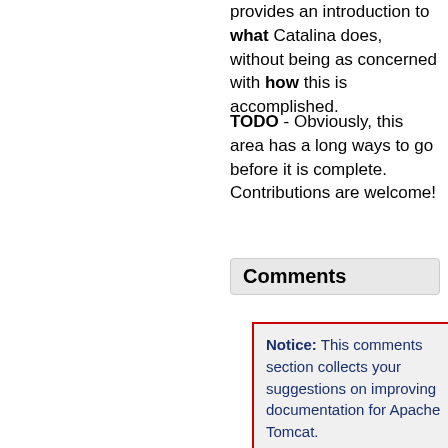provides an introduction to what Catalina does, without being as concerned with how this is accomplished.
TODO - Obviously, this area has a long ways to go before it is complete. Contributions are welcome!
Comments
Notice: This comments section collects your suggestions on improving documentation for Apache Tomcat.

If you have trouble and need help, read Find Help page and ask your question on